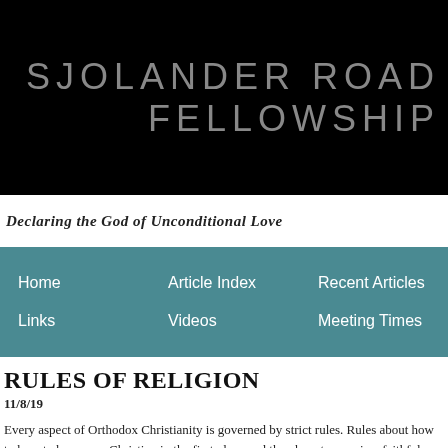SJOLANDER ROAD FELLOWSHIP
Declaring the God of Unconditional Love
Home   Article Index   Recent Articles   Cont...   Links   Videos   Meeting Times
RULES OF RELIGION
11/8/19
Every aspect of Orthodox Christianity is governed by strict rules. Rules about how to how to become a Christian in the first place and then how to remain a faithful Christia... properly. Rules about the church organization and hierarchy. Rules about church fina...